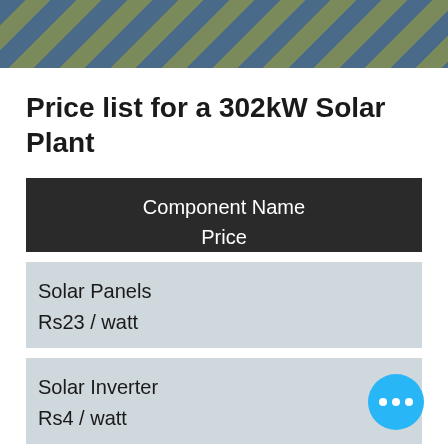[Figure (photo): Close-up of solar panels showing blue and olive/tan diagonal striped texture]
Price list for a 302kW Solar Plant
| Component Name | Price |
| --- | --- |
| Solar Panels | Rs23 / watt |
| Solar Inverter | Rs4 / watt |
| Cables and Junction Boxes |  |